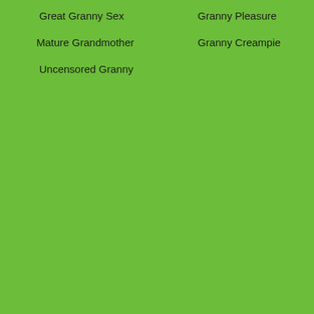Great Granny Sex
Granny Pleasure
Mature Grandmother
Granny Creampie
Uncensored Granny